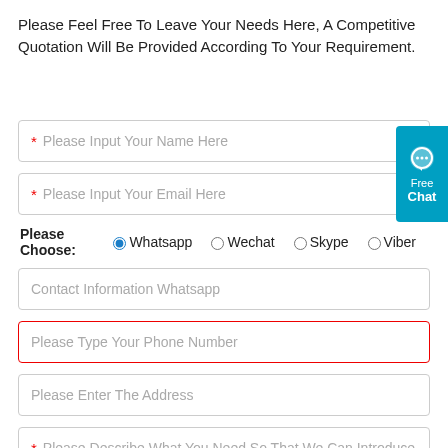Please Feel Free To Leave Your Needs Here, A Competitive Quotation Will Be Provided According To Your Requirement.
* Please Input Your Name Here
* Please Input Your Email Here
Please Choose: Whatsapp (selected) Wechat Skype Viber
Contact Information Whatsapp
Please Type Your Phone Number
Please Enter The Address
* Please Describe What You Need So That We Can Introduce